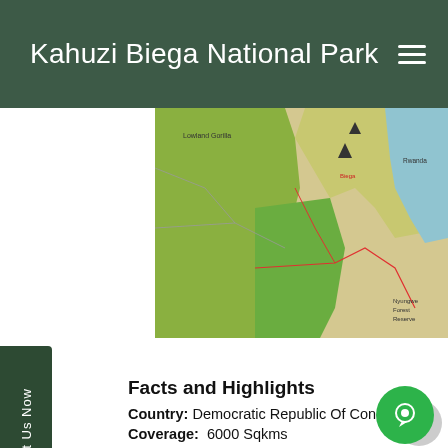Kahuzi Biega National Park
[Figure (map): Map of Kahuzi Biega National Park showing park boundaries, lowland gorilla area, roads, and surrounding region including Rwanda and Burundi labels. Green shaded areas indicate park coverage.]
Facts and Highlights
Country: Democratic Republic Of Congo
Coverage: 6000 Sqkms
Engraved: In 1980
Main Attraction: Eastern Lowland Gorillas
Mammal Species: 136
Bird Species: 336
Reptiles: 69Species